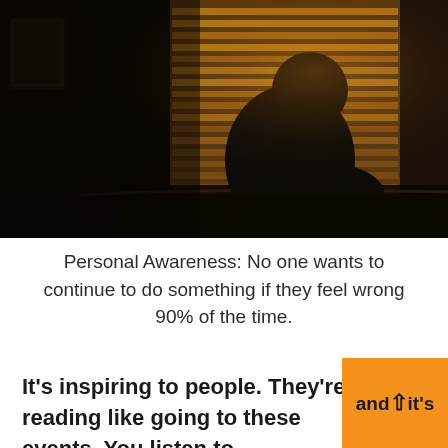[Figure (photo): Silhouette of a person sitting hunched over on a bed in front of window blinds with warm light filtering through, in a dark moody room]
Personal Awareness: No one wants to continue to do something if they feel wrong 90% of the time.
It's inspiring to people. They're reading and it's like going to these events. You listen to